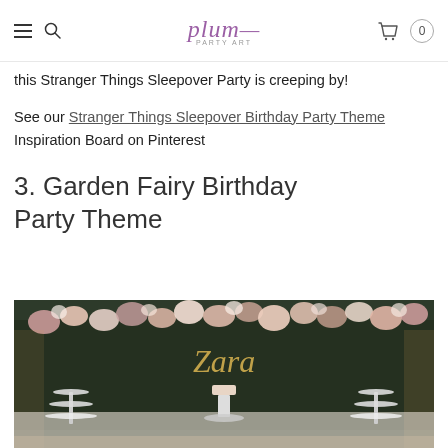plum party art
this Stranger Things Sleepover Party is creeping by!
See our Stranger Things Sleepover Birthday Party Theme Inspiration Board on Pinterest
3. Garden Fairy Birthday Party Theme
[Figure (photo): Garden Fairy birthday party dessert table with a hedge wall backdrop covered in pink and white flowers, with the name 'Zara' in gold script, tiered dessert stands, and party decorations.]